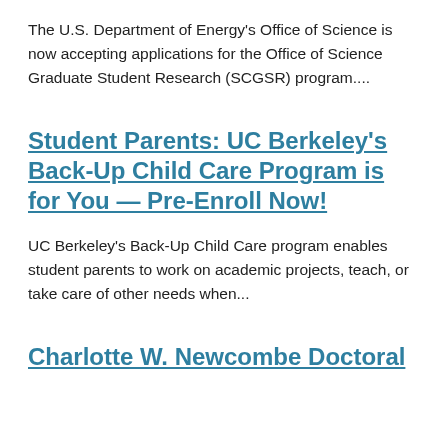The U.S. Department of Energy's Office of Science is now accepting applications for the Office of Science Graduate Student Research (SCGSR) program....
Student Parents: UC Berkeley's Back-Up Child Care Program is for You — Pre-Enroll Now!
UC Berkeley's Back-Up Child Care program enables student parents to work on academic projects, teach, or take care of other needs when...
Charlotte W. Newcombe Doctoral